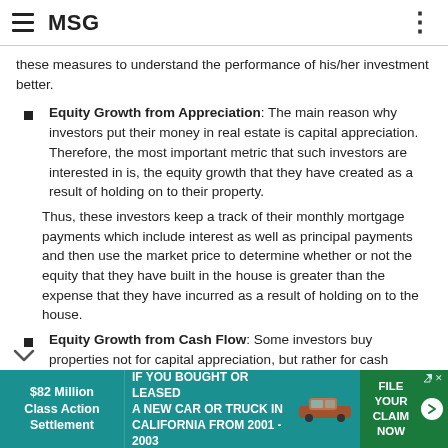MSG
these measures to understand the performance of his/her investment better.
Equity Growth from Appreciation: The main reason why investors put their money in real estate is capital appreciation. Therefore, the most important metric that such investors are interested in is, the equity growth that they have created as a result of holding on to their property.
Thus, these investors keep a track of their monthly mortgage payments which include interest as well as principal payments and then use the market price to determine whether or not the equity that they have built in the house is greater than the expense that they have incurred as a result of holding on to the house.
Equity Growth from Cash Flow: Some investors buy properties not for capital appreciation, but rather for cash
[Figure (infographic): Advertisement banner: $82 Million Class Action Settlement - IF YOU BOUGHT OR LEASED A NEW CAR OR TRUCK IN CALIFORNIA FROM 2001 - 2003 FILE YOUR CLAIM NOW]